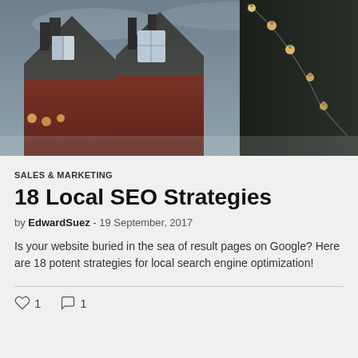[Figure (photo): Exterior photo of red brick Victorian-style houses at dusk with string lights hanging on the right side, moody dark sky background]
SALES & MARKETING
18 Local SEO Strategies
by EdwardSuez - 19 September, 2017
Is your website buried in the sea of result pages on Google? Here are 18 potent strategies for local search engine optimization!
♡ 1   ○ 1